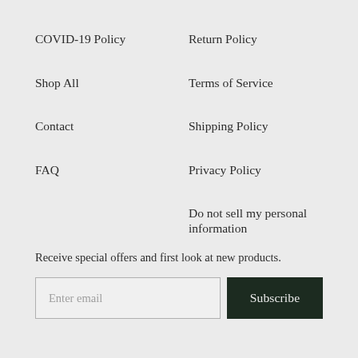COVID-19 Policy
Return Policy
Shop All
Terms of Service
Contact
Shipping Policy
FAQ
Privacy Policy
Do not sell my personal information
Receive special offers and first look at new products.
Enter email
Subscribe